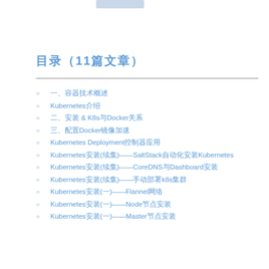目录（11篇文章）
一、容器技术概述
Kubernetes介绍
二、安装 & K8s与Docker关系
三、配置Docker镜像加速
Kubernetes Deployment控制器应用
Kubernetes安装(续集)——SaltStack自动化安装Kubernetes
Kubernetes安装(续集)——CoreDNS与Dashboard安装
Kubernetes安装(续集)——手动部署k8s集群
Kubernetes安装(一)——Flannel网络
Kubernetes安装(一)——Node节点安装
Kubernetes安装(一)——Master节点安装